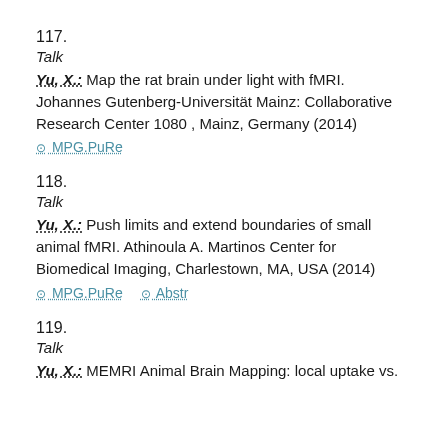117.
Talk
Yu, X.: Map the rat brain under light with fMRI. Johannes Gutenberg-Universität Mainz: Collaborative Research Center 1080 , Mainz, Germany (2014)
⊙ MPG.PuRe
118.
Talk
Yu, X.: Push limits and extend boundaries of small animal fMRI. Athinoula A. Martinos Center for Biomedical Imaging, Charlestown, MA, USA (2014)
⊙ MPG.PuRe  ⊙ Abstr
119.
Talk
Yu, X.: MEMRI Animal Brain Mapping: local uptake vs.